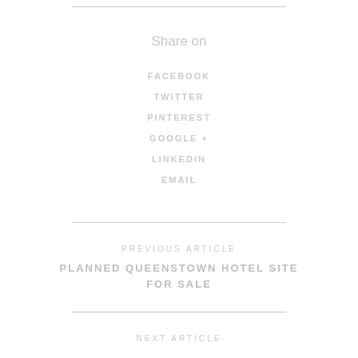Share on
FACEBOOK
TWITTER
PINTEREST
GOOGLE +
LINKEDIN
EMAIL
PREVIOUS ARTICLE
PLANNED QUEENSTOWN HOTEL SITE FOR SALE
NEXT ARTICLE